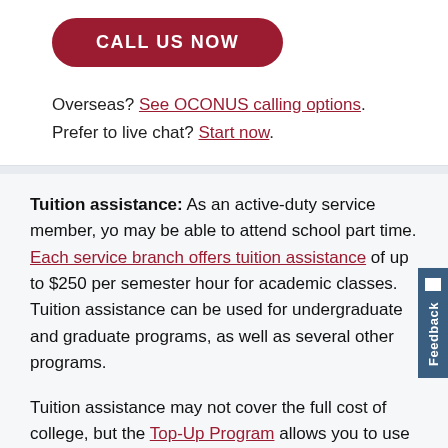[Figure (other): Red rounded rectangle button with white bold text reading CALL US NOW]
Overseas? See OCONUS calling options. Prefer to live chat? Start now.
Tuition assistance: As an active-duty service member, you may be able to attend school part time. Each service branch offers tuition assistance of up to $250 per semester hour for academic classes. Tuition assistance can be used for undergraduate and graduate programs, as well as several other programs.
Tuition assistance may not cover the full cost of college, but the Top-Up Program allows you to use GI bill funding to cover the rest. Talk to your education counselor for more
[Figure (other): Feedback tab on the right side of the page, vertical blue tab with white text reading Feedback]